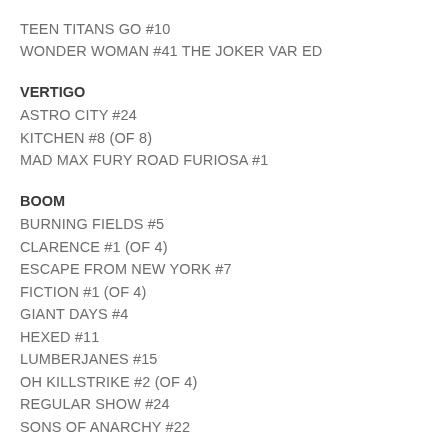TEEN TITANS GO #10
WONDER WOMAN #41 THE JOKER VAR ED
VERTIGO
ASTRO CITY #24
KITCHEN #8 (OF 8)
MAD MAX FURY ROAD FURIOSA #1
BOOM
BURNING FIELDS #5
CLARENCE #1 (OF 4)
ESCAPE FROM NEW YORK #7
FICTION #1 (OF 4)
GIANT DAYS #4
HEXED #11
LUMBERJANES #15
OH KILLSTRIKE #2 (OF 4)
REGULAR SHOW #24
SONS OF ANARCHY #22
DARK HORSE
ARCHIE VS PREDATOR #3